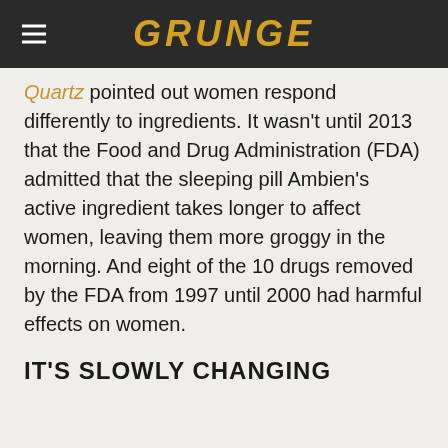GRUNGE
Quartz pointed out women respond differently to ingredients. It wasn't until 2013 that the Food and Drug Administration (FDA) admitted that the sleeping pill Ambien's active ingredient takes longer to affect women, leaving them more groggy in the morning. And eight of the 10 drugs removed by the FDA from 1997 until 2000 had harmful effects on women.
IT'S SLOWLY CHANGING